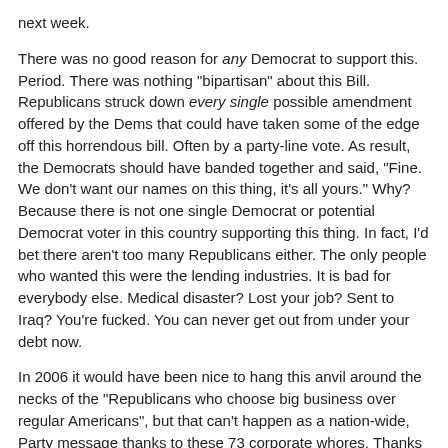next week.
There was no good reason for any Democrat to support this. Period. There was nothing "bipartisan" about this Bill. Republicans struck down every single possible amendment offered by the Dems that could have taken some of the edge off this horrendous bill. Often by a party-line vote. As result, the Democrats should have banded together and said, "Fine. We don't want our names on this thing, it's all yours." Why? Because there is not one single Democrat or potential Democrat voter in this country supporting this thing. In fact, I'd bet there aren't too many Republicans either. The only people who wanted this were the lending industries. It is bad for everybody else. Medical disaster? Lost your job? Sent to Iraq? You're fucked. You can never get out from under your debt now.
In 2006 it would have been nice to hang this anvil around the necks of the "Republicans who choose big business over regular Americans", but that can't happen as a nation-wide, Party message thanks to these 73 corporate whores. Thanks a lot for making defining our Party versus the Republicans a